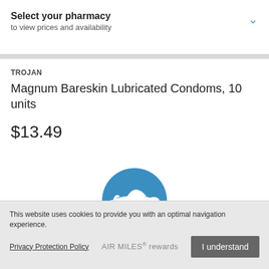Select your pharmacy
to view prices and availability
TROJAN
Magnum Bareskin Lubricated Condoms, 10 units
$13.49
[Figure (logo): Air Miles rewards program logo: white airplane on a blue circle background]
This website uses cookies to provide you with an optimal navigation experience.
Privacy Protection Policy
AIR MILES® rewards
I understand